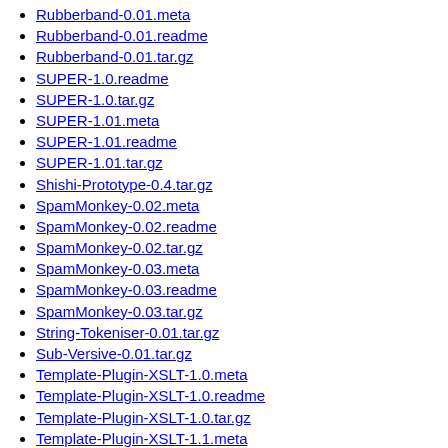Rubberband-0.01.meta
Rubberband-0.01.readme
Rubberband-0.01.tar.gz
SUPER-1.0.readme
SUPER-1.0.tar.gz
SUPER-1.01.meta
SUPER-1.01.readme
SUPER-1.01.tar.gz
Shishi-Prototype-0.4.tar.gz
SpamMonkey-0.02.meta
SpamMonkey-0.02.readme
SpamMonkey-0.02.tar.gz
SpamMonkey-0.03.meta
SpamMonkey-0.03.readme
SpamMonkey-0.03.tar.gz
String-Tokeniser-0.01.tar.gz
Sub-Versive-0.01.tar.gz
Template-Plugin-XSLT-1.0.meta
Template-Plugin-XSLT-1.0.readme
Template-Plugin-XSLT-1.0.tar.gz
Template-Plugin-XSLT-1.1.meta
Template-Plugin-XSLT-1.1.readme
Template-Plugin-XSLT-1.1.tar.gz
Text-Context-1.1.readme
Text-Context-1.1.tar.gz